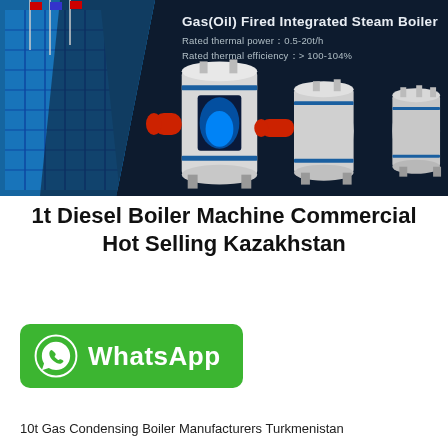[Figure (photo): Dark blue hero banner showing industrial steam boilers with a glass building on the left and product specifications text on the right: 'Gas(Oil) Fired Integrated Steam Boiler', rated thermal power 0.5-20t/h, rated thermal efficiency >100-104%]
1t Diesel Boiler Machine Commercial Hot Selling Kazakhstan
[Figure (logo): WhatsApp button: green rounded rectangle with WhatsApp icon and 'WhatsApp' text in white]
10t Gas Condensing Boiler Manufacturers Turkmenistan